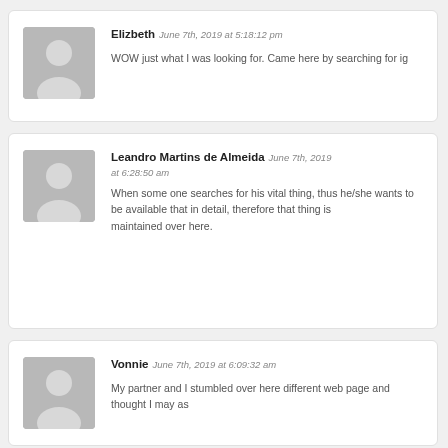Elizbeth June 7th, 2019 at 5:18:12 pm
WOW just what I was looking for. Came here by searching for ig
Leandro Martins de Almeida June 7th, 2019 at 6:28:50 am
When some one searches for his vital thing, thus he/she wants to be available that in detail, therefore that thing is maintained over here.
Vonnie June 7th, 2019 at 6:09:32 am
My partner and I stumbled over here different web page and thought I may as